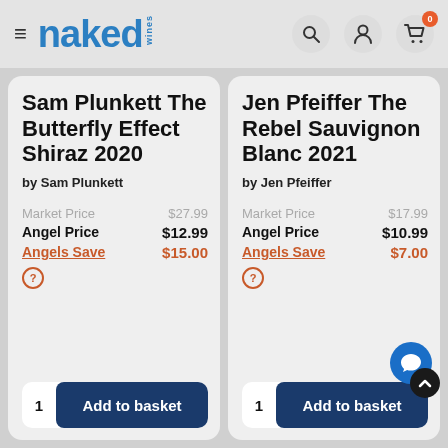naked wines
Sam Plunkett The Butterfly Effect Shiraz 2020 by Sam Plunkett — Market Price $27.99 — Angel Price $12.99 — Angels Save $15.00
Jen Pfeiffer The Rebel Sauvignon Blanc 2021 by Jen Pfeiffer — Market Price $17.99 — Angel Price $10.99 — Angels Save $7.00